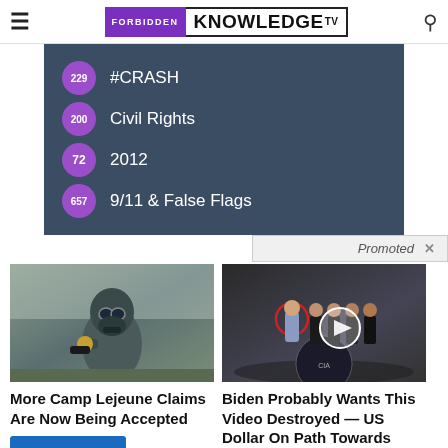FORBIDDEN KNOWLEDGE TV
229 #CRASH
200 Civil Rights
72 2012
657 9/11 & False Flags
Promoted ×
[Figure (photo): Person wearing hazmat suit and gas mask]
More Camp Lejeune Claims Are Now Being Accepted
Find Out More
[Figure (photo): Group of men in suits at CIA headquarters with video play button overlay]
Biden Probably Wants This Video Destroyed — US Dollar On Path Towards Replacement?
Watch The Video